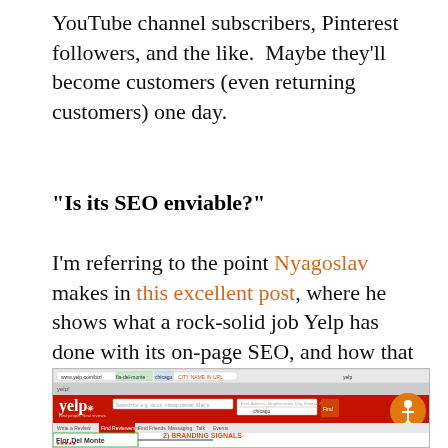YouTube channel subscribers, Pinterest followers, and the like.  Maybe they'll become customers (even returning customers) one day.
“Is its SEO enviable?”
I'm referring to the point Nyagoslav makes in this excellent post, where he shows what a rock-solid job Yelp has done with its on-page SEO, and how that can indirectly help your business.
[Figure (screenshot): Screenshot of Yelp website showing search interface with yelp logo, search fields, navigation bar, and annotation '2) BRANDING SIGNALS' pointing to Flor Del Monte listing]